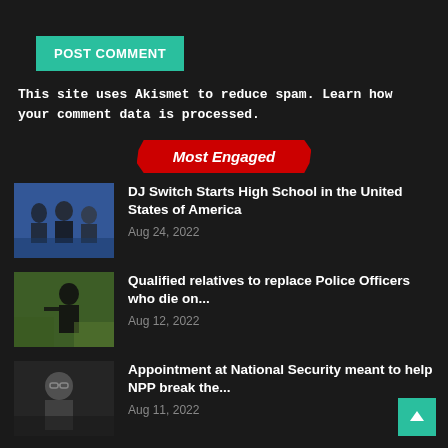POST COMMENT
This site uses Akismet to reduce spam. Learn how your comment data is processed.
Most Engaged
[Figure (photo): Thumbnail photo for DJ Switch article]
DJ Switch Starts High School in the United States of America
Aug 24, 2022
[Figure (photo): Thumbnail photo for police officers article]
Qualified relatives to replace Police Officers who die on...
Aug 12, 2022
[Figure (photo): Thumbnail photo for NPP article]
Appointment at National Security meant to help NPP break the...
Aug 11, 2022